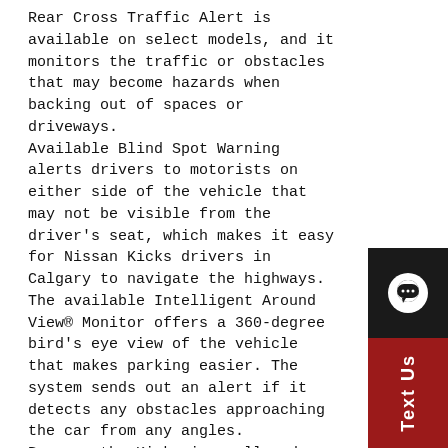Rear Cross Traffic Alert is available on select models, and it monitors the traffic or obstacles that may become hazards when backing out of spaces or driveways. Available Blind Spot Warning alerts drivers to motorists on either side of the vehicle that may not be visible from the driver's seat, which makes it easy for Nissan Kicks drivers in Calgary to navigate the highways. The available Intelligent Around View® Monitor offers a 360-degree bird's eye view of the vehicle that makes parking easier. The system sends out an alert if it detects any obstacles approaching the car from any angles. Because the Kicks is small and nimble, it gets good fuel efficiency from its 1.6-litre 125 horsepower inline-4 engine that has been paired with a CVT transmission. Stop by and test drive the new Nissan Kicks in Calgary at Royal Oak Nissan today.
[Figure (other): Dark circular chat bubble icon on black background, and a red 'Text Us' vertical button widget on the right side of the page.]